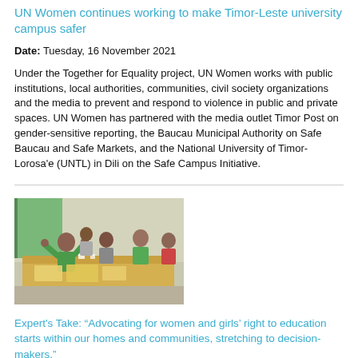UN Women continues working to make Timor-Leste university campus safer
Date: Tuesday, 16 November 2021
Under the Together for Equality project, UN Women works with public institutions, local authorities, communities, civil society organizations and the media to prevent and respond to violence in public and private spaces. UN Women has partnered with the media outlet Timor Post on gender-sensitive reporting, the Baucau Municipal Authority on Safe Baucau and Safe Markets, and the National University of Timor-Lorosa'e (UNTL) in Dili on the Safe Campus Initiative.
[Figure (photo): Group of people sitting around a table in discussion, with green clothing visible, appearing to be in a workshop or community meeting setting.]
Expert's Take: “Advocating for women and girls’ right to education starts within our homes and communities, stretching to decision-makers.”